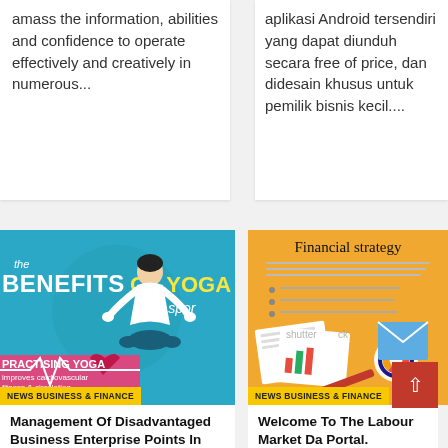amass the information, abilities and confidence to operate effectively and creatively in numerous...
aplikasi Android tersendiri yang dapat diunduh secara free of price, dan didesain khusus untuk pemilik bisnis kecil....
[Figure (infographic): Benefits of Yoga for sports infographic — blue background with person meditating in lotus pose. Text: 'the BENEFITS OF YOGA for spor', 'PRACTISING YOGA improves cardiovascular fitness & circulation k improves'. Yellow badge: 'News Business & Finance']
[Figure (infographic): Financial strategy infographic on orange/yellow background. Shows documents, charts, magnifying glass, envelopes. Text: 'Financial strategy'. Shutterstock watermark. Yellow badge: 'News Business & Finance']
Management Of Disadvantaged Business Enterprise Points In Construction
Welcome To The Labour Market Da Portal.
3 years ago  Priscilla C.